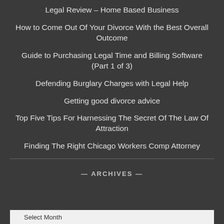Legal Review – Home Based Business
How to Come Out Of Your Divorce With the Best Overall Outcome
Guide to Purchasing Legal Time and Billing Software (Part 1 of 3)
Defending Burglary Charges with Legal Help
Getting good divorce advice
Top Five Tips For Harnessing The Secret Of The Law Of Attraction
Finding The Right Chicago Workers Comp Attorney
— ARCHIVES —